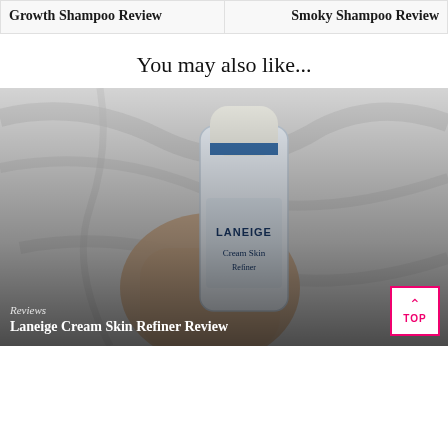Growth Shampoo Review
Smoky Shampoo Review
You may also like...
[Figure (photo): Hand holding a Laneige Cream Skin Refiner bottle against a marble background, with overlay text 'Reviews' and 'Laneige Cream Skin Refiner Review', and a pink TOP button.]